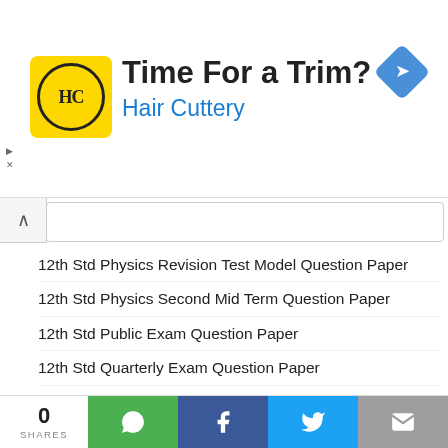[Figure (other): Hair Cuttery advertisement banner with yellow logo, 'Time For a Trim?' headline, blue 'Hair Cuttery' subtitle, and blue diamond navigation icon]
12th Std Physics Revision Test Model Question Paper
12th Std Physics Second Mid Term Question Paper
12th Std Public Exam Question Paper
12th Std Quarterly Exam Question Paper
12th Std Quarterly Exam Question Paper 2019
12TH STD QUESTION PAPERS
12th Std Science Model Question Paper
12th Std Second Midterm Model Questions
12th Std Statistics Question Paper
12th Std Study Materials
0 SHARES | WhatsApp | Facebook | Twitter | Email